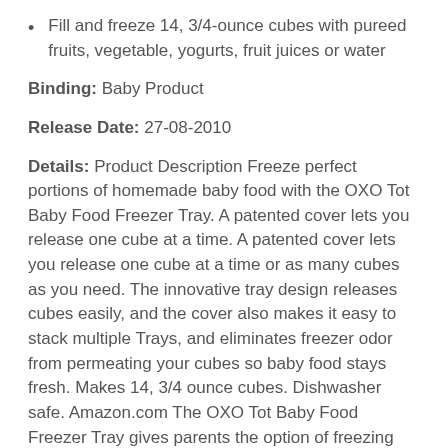Fill and freeze 14, 3/4-ounce cubes with pureed fruits, vegetable, yogurts, fruit juices or water
Binding: Baby Product
Release Date: 27-08-2010
Details: Product Description Freeze perfect portions of homemade baby food with the OXO Tot Baby Food Freezer Tray. A patented cover lets you release one cube at a time. A patented cover lets you release one cube at a time or as many cubes as you need. The innovative tray design releases cubes easily, and the cover also makes it easy to stack multiple Trays, and eliminates freezer odor from permeating your cubes so baby food stays fresh. Makes 14, 3/4 ounce cubes. Dishwasher safe. Amazon.com The OXO Tot Baby Food Freezer Tray gives parents the option of freezing homemade baby food in 3/4-ounce portions. The tray is built to release cubes easily, while the flat, colorful cover lets you control how many cubes are accessed at one time. Dishwasher safe, the Freezer Tray and lid are designed to keep freezer odors from absorbing into the